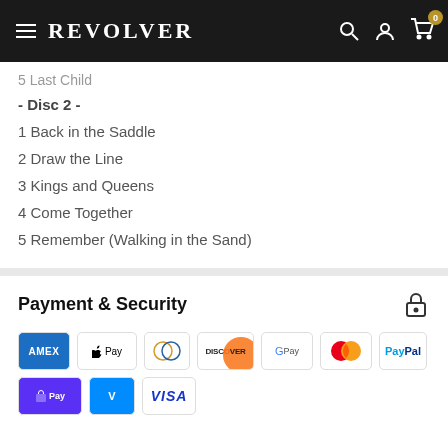REVOLVER
5 Last Child
- Disc 2 -
1 Back in the Saddle
2 Draw the Line
3 Kings and Queens
4 Come Together
5 Remember (Walking in the Sand)
Payment & Security
[Figure (logo): Payment method logos: American Express, Apple Pay, Diners Club, Discover, Google Pay, Mastercard, PayPal, Shop Pay, Venmo, Visa]